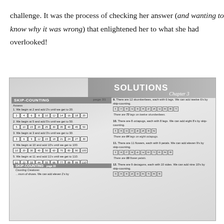challenge. It was the process of checking her answer (and wanting to know why it was wrong) that enlightened her to what she had overlooked!
[Figure (photo): Photo of a math textbook page showing 'SOLUTIONS Chapter 3' header and skip-counting exercises (problems 1-12) with number sequences, illustrated with cartoon animals. Left column shows problems 1-5 on skip counting with numbers in boxes. Right column shows problems 9-12 about skip counting with animals (skumberbees, octapugs, flowers, decagons).]